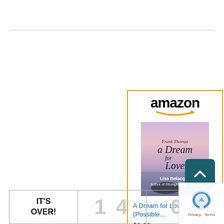[Figure (other): Amazon product widget showing book 'A Dream for Love (Possible...)' priced at $2.99 with Shop now button]
IT'S OVER!
14
0/7